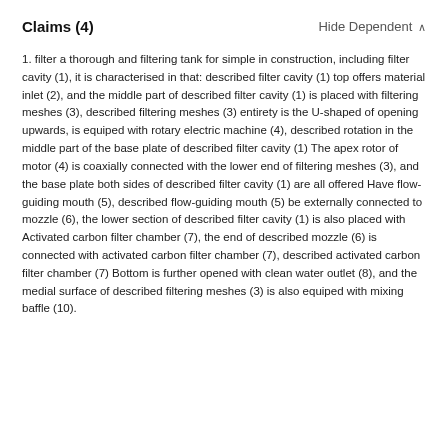Claims (4)
1. filter a thorough and filtering tank for simple in construction, including filter cavity (1), it is characterised in that: described filter cavity (1) top offers material inlet (2), and the middle part of described filter cavity (1) is placed with filtering meshes (3), described filtering meshes (3) entirety is the U-shaped of opening upwards, is equiped with rotary electric machine (4), described rotation in the middle part of the base plate of described filter cavity (1) The apex rotor of motor (4) is coaxially connected with the lower end of filtering meshes (3), and the base plate both sides of described filter cavity (1) are all offered Have flow-guiding mouth (5), described flow-guiding mouth (5) be externally connected to mozzle (6), the lower section of described filter cavity (1) is also placed with Activated carbon filter chamber (7), the end of described mozzle (6) is connected with activated carbon filter chamber (7), described activated carbon filter chamber (7) Bottom is further opened with clean water outlet (8), and the medial surface of described filtering meshes (3) is also equiped with mixing baffle (10).